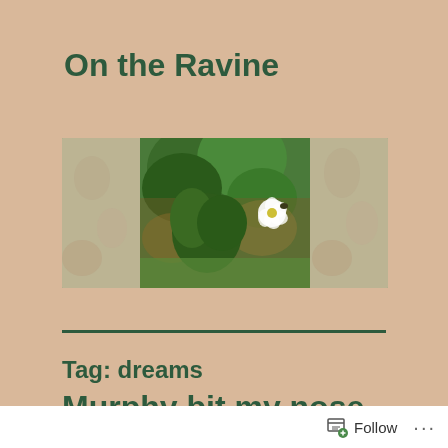On the Ravine
[Figure (photo): A view through a window with sheer curtains on both sides, looking out onto green trees and a white flower (hibiscus), with orange/brown foliage visible in the background.]
Tag: dreams
Murphy bit my nose.
Follow ...